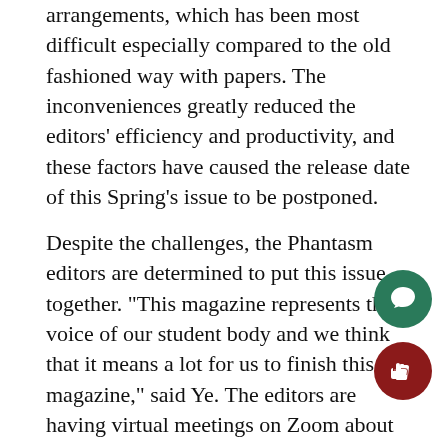arrangements, which has been most difficult especially compared to the old fashioned way with papers. The inconveniences greatly reduced the editors' efficiency and productivity, and these factors have caused the release date of this Spring's issue to be postponed.
Despite the challenges, the Phantasm editors are determined to put this issue together. "This magazine represents the voice of our student body and we think that it means a lot for us to finish this magazine," said Ye. The editors are having virtual meetings on Zoom about twice a week at 3:00 P.M. to simulate the meetings after school. Even though Phantasm is not a required course, the editors have been disciplined to show up for the meetings and work on the magazine in their free time.
Besides the student editors, the Phantasm modera…